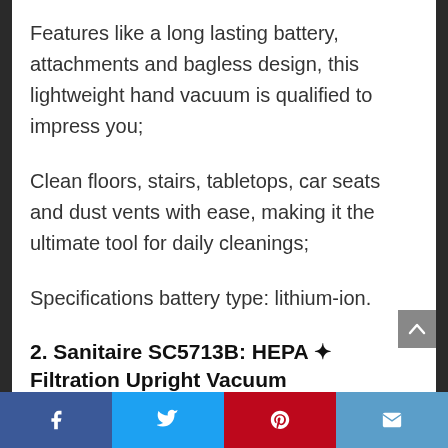Features like a long lasting battery, attachments and bagless design, this lightweight hand vacuum is qualified to impress you;
Clean floors, stairs, tabletops, car seats and dust vents with ease, making it the ultimate tool for daily cleanings;
Specifications battery type: lithium-ion.
2. Sanitaire SC5713B: HEPA ✦ Filtration Upright Vacuum
Social share bar: Facebook, Twitter, Pinterest, Email